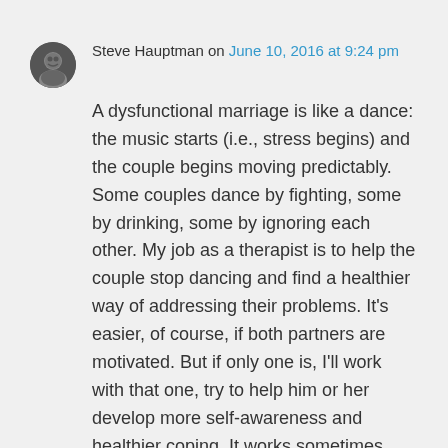Steve Hauptman on June 10, 2016 at 9:24 pm
A dysfunctional marriage is like a dance: the music starts (i.e., stress begins) and the couple begins moving predictably. Some couples dance by fighting, some by drinking, some by ignoring each other. My job as a therapist is to help the couple stop dancing and find a healthier way of addressing their problems. It’s easier, of course, if both partners are motivated. But if only one is, I’ll work with that one, try to help him or her develop more self-awareness and healthier coping. It works sometimes. The work and courage of one